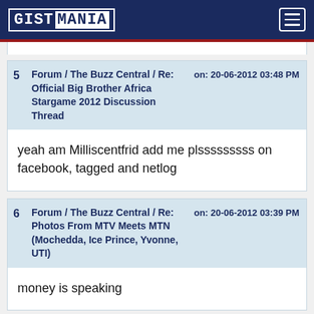GISTMANIA
Forum / The Buzz Central / Re: Official Big Brother Africa Stargame 2012 Discussion Thread — on: 20-06-2012 03:48 PM
yeah am Milliscentfrid add me plsssssssss on facebook, tagged and netlog
Forum / The Buzz Central / Re: Photos From MTV Meets MTN (Mochedda, Ice Prince, Yvonne, UTI) — on: 20-06-2012 03:39 PM
money is speaking